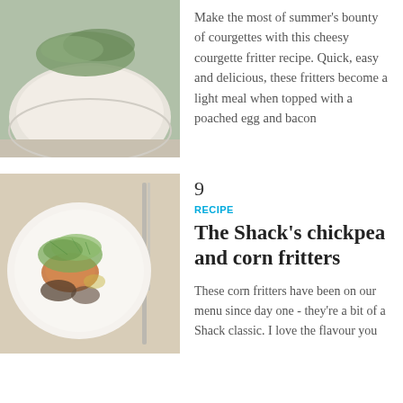[Figure (photo): Photo of a food dish, partially visible at the top of the page, showing a plate with greens on a table setting]
Make the most of summer's bounty of courgettes with this cheesy courgette fritter recipe. Quick, easy and delicious, these fritters become a light meal when topped with a poached egg and bacon
[Figure (photo): Photo of The Shack's chickpea and corn fritters dish on a white plate, garnished with microgreens and served with vegetables]
9
RECIPE
The Shack's chickpea and corn fritters
These corn fritters have been on our menu since day one - they're a bit of a Shack classic. I love the flavour you